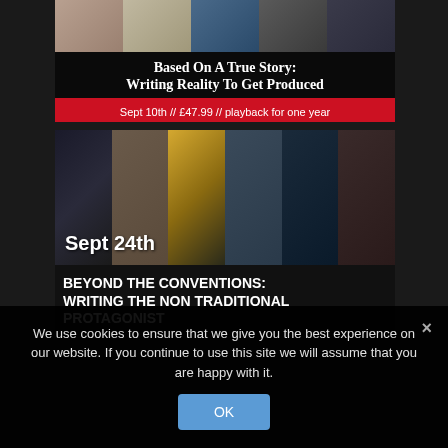[Figure (photo): Banner with photo strip of actors/TV show characters above black title box. Title reads: Based On A True Story: Writing Reality To Get Produced. Red strip below with date and price: Sept 10th // £47.99 // playback for one year]
[Figure (photo): Second banner with photo strip of TV drama characters (Sherlock, and others). Date label Sept 24th overlaid. Below: BEYOND THE CONVENTIONS: Writing The Non Traditional Protagonist]
We use cookies to ensure that we give you the best experience on our website. If you continue to use this site we will assume that you are happy with it.